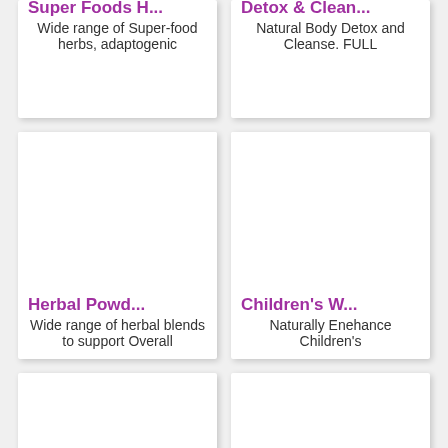Super Foods H...
Wide range of Super-food herbs, adaptogenic
Detox & Clean...
Natural Body Detox and Cleanse. FULL
[Figure (illustration): Product image area for Herbal Powders category]
Herbal Powd...
Wide range of herbal blends to support Overall
[Figure (illustration): Product image area for Children's Wellness category]
Children's W...
Naturally Enehance Children's
[Figure (illustration): Partial product card bottom left]
[Figure (illustration): Partial product card bottom right]